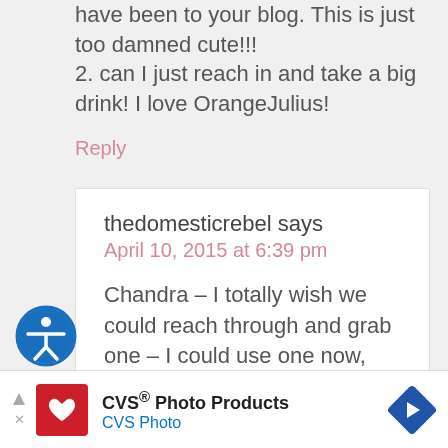have been to your blog. This is just too damned cute!!!
2. can I just reach in and take a big drink! I love OrangeJulius!
Reply
thedomesticrebel says
April 10, 2015 at 6:39 pm
Chandra – I totally wish we could reach through and grab one – I could use one now, too
[Figure (logo): CVS Photo Products advertisement banner with CVS Pharmacy logo, text 'CVS® Photo Products' and 'CVS Photo', and a blue diamond navigation arrow icon]